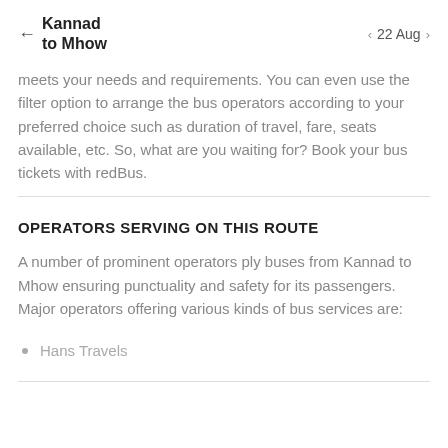← Kannad to Mhow  ‹ 22 Aug ›
meets your needs and requirements. You can even use the filter option to arrange the bus operators according to your preferred choice such as duration of travel, fare, seats available, etc. So, what are you waiting for? Book your bus tickets with redBus.
OPERATORS SERVING ON THIS ROUTE
A number of prominent operators ply buses from Kannad to Mhow ensuring punctuality and safety for its passengers. Major operators offering various kinds of bus services are:
Hans Travels